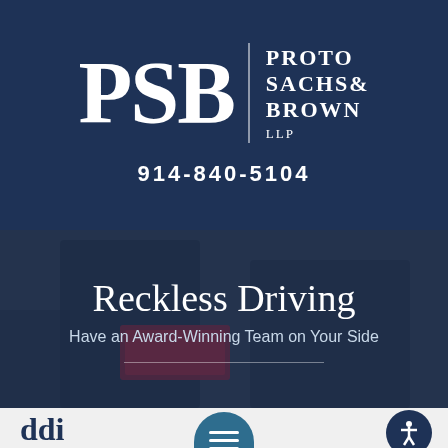[Figure (logo): Proto Sachs & Brown LLP law firm logo with large PSB letters in white on navy background]
914-840-5104
[Figure (photo): Background photo of a police officer writing a citation, dimly lit with dark overlay]
Reckless Driving
Have an Award-Winning Team on Your Side